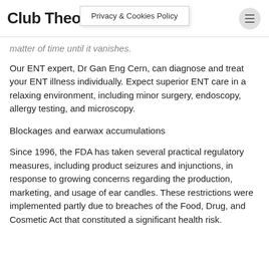Club Theo | Privacy & Cookies Policy
matter of time until it vanishes.
Our ENT expert, Dr Gan Eng Cern, can diagnose and treat your ENT illness individually. Expect superior ENT care in a relaxing environment, including minor surgery, endoscopy, allergy testing, and microscopy.
Blockages and earwax accumulations
Since 1996, the FDA has taken several practical regulatory measures, including product seizures and injunctions, in response to growing concerns regarding the production, marketing, and usage of ear candles. These restrictions were implemented partly due to breaches of the Food, Drug, and Cosmetic Act that constituted a significant health risk.